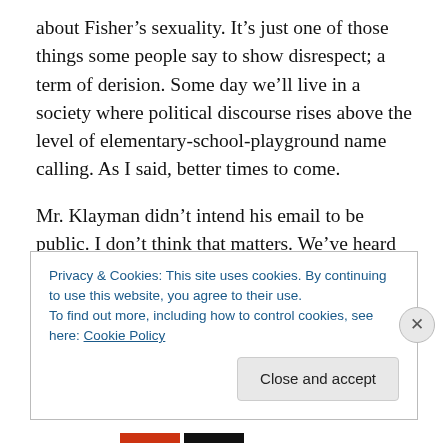about Fisher's sexuality. It's just one of those things some people say to show disrespect; a term of derision. Some day we'll live in a society where political discourse rises above the level of elementary-school-playground name calling. As I said, better times to come.
Mr. Klayman didn't intend his email to be public. I don't think that matters. We've heard worse spoken directly into the microphone by activists with a lot more prominence than Larry Klayman. And this kind of polemic is not limited to one end of the political spectrum. 'Right-
Privacy & Cookies: This site uses cookies. By continuing to use this website, you agree to their use.
To find out more, including how to control cookies, see here: Cookie Policy